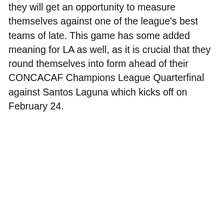they will get an opportunity to measure themselves against one of the league's best teams of late. This game has some added meaning for LA as well, as it is crucial that they round themselves into form ahead of their CONCACAF Champions League Quarterfinal against Santos Laguna which kicks off on February 24.